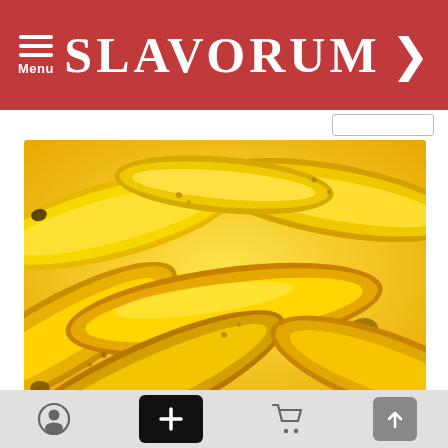SLAVORUM
[Figure (photo): A large pile of ripe yellow bananas filling the entire frame, photographed close up.]
What Will Happen if You Eat 2 Bananas a Day